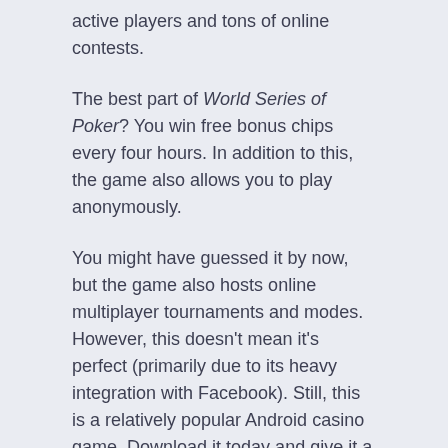active players and tons of online contests.
The best part of World Series of Poker? You win free bonus chips every four hours. In addition to this, the game also allows you to play anonymously.
You might have guessed it by now, but the game also hosts online multiplayer tournaments and modes. However, this doesn't mean it's perfect (primarily due to its heavy integration with Facebook). Still, this is a relatively popular Android casino game. Download it today and give it a try yourself.
Zynga Casino Games
Zynga offers a bunch of awesome casino games for